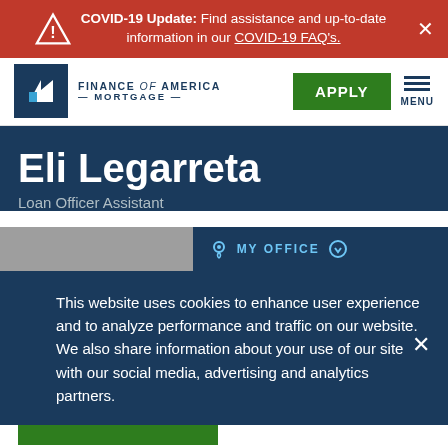COVID-19 Update: Find assistance and up-to-date information in our COVID-19 FAQ's.
[Figure (logo): Finance of America Mortgage logo with blue square icon and text]
Eli Legarreta
Loan Officer Assistant
MY OFFICE
This website uses cookies to enhance user experience and to analyze performance and traffic on our website. We also share information about your use of our site with our social media, advertising and analytics partners.